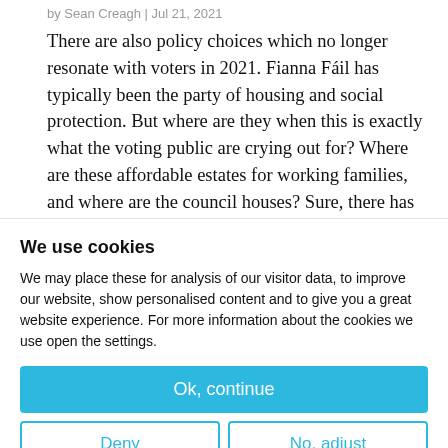by Sean Creagh | Jul 21, 2021
There are also policy choices which no longer resonate with voters in 2021. Fianna Fáil has typically been the party of housing and social protection. But where are they when this is exactly what the voting public are crying out for? Where are these affordable estates for working families, and where are the council houses? Sure, there has
We use cookies
We may place these for analysis of our visitor data, to improve our website, show personalised content and to give you a great website experience. For more information about the cookies we use open the settings.
Ok, continue
Deny
No, adjust